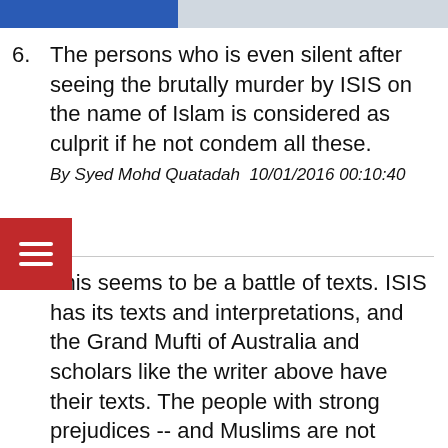6. The persons who is even silent after seeing the brutally murder by ISIS on the name of Islam is considered as culprit if he not condem all these.
By Syed Mohd Quatadah  10/01/2016 00:10:40
5. This seems to be a battle of texts. ISIS has its texts and interpretations, and the Grand Mufti of Australia and scholars like the writer above have their texts. The people with strong prejudices -- and Muslims are not immune to prejudice -- will continue to 'blame Islam', 'blame the Jews,' 'blame the Hindus,' 'blame the Nasaara' and so on. In this case, the writer blames all non-Muslim Australians, for he has not mentioned one single instance of